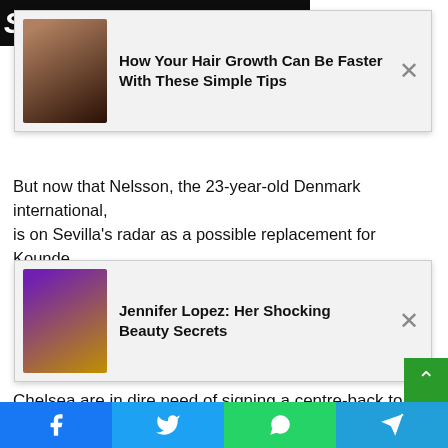[Figure (screenshot): Dark banner with bold italic white text reading SIGN UP OFFERS]
[Figure (screenshot): Advertisement card: photo of woman with dark curly hair, title 'How Your Hair Growth Can Be Faster With These Simple Tips', with close button X]
But now that Nelsson, the 23-year-old Denmark international, is on Sevilla's radar as a possible replacement for Kounde
[Figure (screenshot): Advertisement card: photo of Jennifer Lopez performing, title 'Jennifer Lopez: Her Shocking Beauty Secrets', with close button X]
Chelsea are in dire need of signing a centre-back to replace him Antonio Rudiger, who will join Real Madrid at the end of the season.
Kounde, 23, appears to be a natural fit, and reportedly so he and Chelsea are still keen on the high-priced move.
The UK government's sanctions on the club mean they cannot
[Figure (screenshot): Scroll-to-top green button with upward chevron arrow]
[Figure (screenshot): Social sharing bar with Facebook, Twitter, WhatsApp, and Telegram icons in colored buttons]